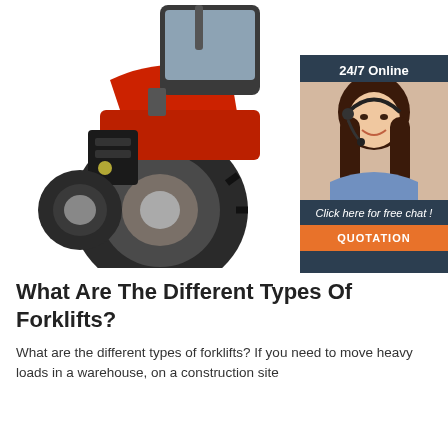[Figure (photo): Red agricultural tractor with large black tires on white background, cab visible at top right]
[Figure (infographic): Dark navy chat widget with '24/7 Online' header, photo of smiling woman with headset, text 'Click here for free chat!', and orange QUOTATION button]
What Are The Different Types Of Forklifts?
What are the different types of forklifts? If you need to move heavy loads in a warehouse, on a construction site